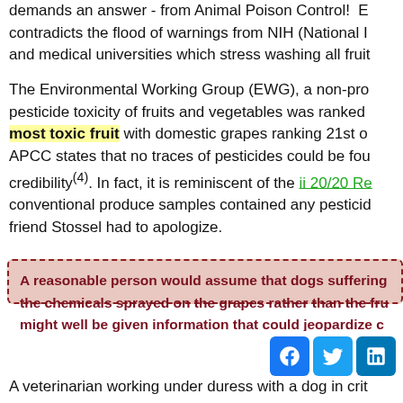demands an answer - from Animal Poison Control!  E contradicts the flood of warnings from NIH (National I and medical universities which stress washing all fruit
The Environmental Working Group (EWG), a non-pro pesticide toxicity of fruits and vegetables was ranked most toxic fruit with domestic grapes ranking 21st o APCC states that no traces of pesticides could be fou credibility(4). In fact, it is reminiscent of the ii 20/20 Re conventional produce samples contained any pesticid friend Stossel had to apologize.
A reasonable person would assume that dogs suffering the chemicals sprayed on the grapes rather than the fru might well be given information that could jeopardize c
A veterinarian working under duress with a dog in crit